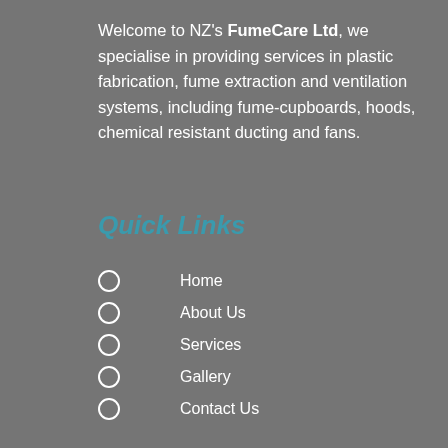Welcome to NZ's FumeCare Ltd, we specialise in providing services in plastic fabrication, fume extraction and ventilation systems, including fume-cupboards, hoods, chemical resistant ducting and fans.
Quick Links
Home
About Us
Services
Gallery
Contact Us